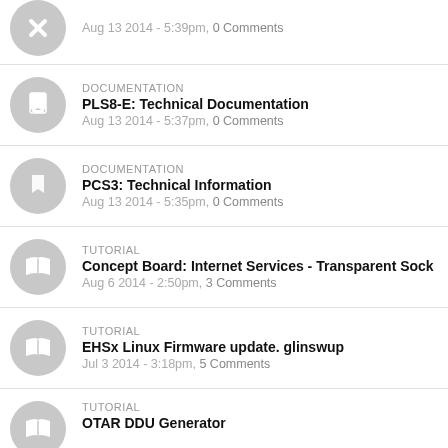Aug 13 2014 - 5:39pm, 0 Comments
DOCUMENTATION
PLS8-E: Technical Documentation
Aug 13 2014 - 5:37pm, 0 Comments
DOCUMENTATION
PCS3: Technical Information
Aug 13 2014 - 5:35pm, 0 Comments
TUTORIAL
Concept Board: Internet Services - Transparent Soc
Aug 6 2014 - 2:50pm, 3 Comments
TUTORIAL
EHSx Linux Firmware update. glinswup
Jul 3 2014 - 3:18pm, 5 Comments
TUTORIAL
OTAR DDU Generator